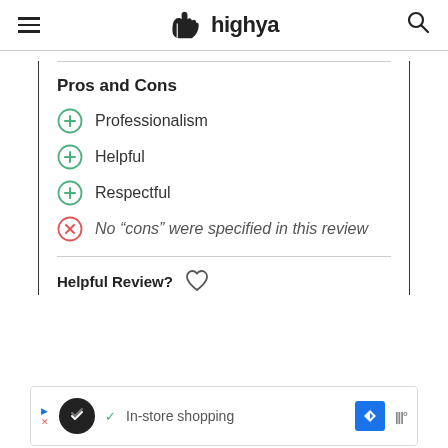highya
Pros and Cons
Professionalism
Helpful
Respectful
No “cons” were specified in this review
Helpful Review?